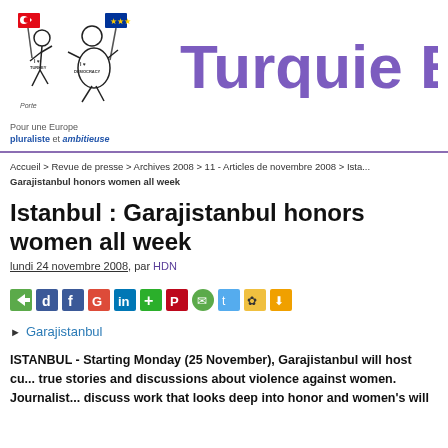[Figure (illustration): Logo illustration of two figures running, holding flags (Turkish and EU), with shirts reading 'I love TURKEY' and 'I love DEMOCRACY'. Artist signature 'Porte' at bottom left.]
Turquie E
Pour une Europe
plurалiste et ambitieuse
Accueil > Revue de presse > Archives 2008 > 11 - Articles de novembre 2008 > Ista... Garajistanbul honors women all week
Istanbul : Garajistanbul honors women all week
lundi 24 novembre 2008, par HDN
[Figure (screenshot): Row of social sharing icons]
Garajistanbul
ISTANBUL - Starting Monday (25 November), Garajistanbul will host cu... true stories and discussions about violence against women. Journalist... discuss work that looks deep into honor and women's will